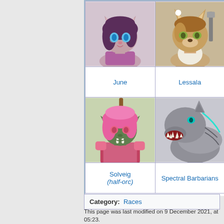[Figure (illustration): Grid table showing character illustrations and names. Top row: June (purple-haired cat-like character with blue eyes) and Lessala (tan wolf/fox character with green eyes). Bottom row: Solveig (green-skinned half-orc with pink hair) and Spectral Barbarians (grey wolf-like creature).]
| [June image] | [Lessala image] |
| June | Lessala |
| [Solveig image] | [Spectral Barbarians image] |
| Solveig
(half-orc) | Spectral Barbarians |
Category:  Races
This page was last modified on 9 December 2021, at 05:23.